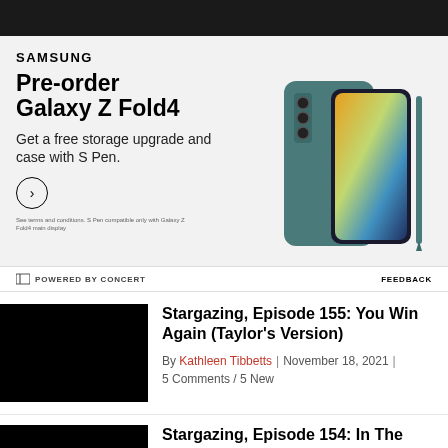[Figure (photo): Dark image strip at the top of the page, appears to be a cropped photo]
[Figure (infographic): Samsung advertisement for Galaxy Z Fold4. Text: SAMSUNG. Pre-order Galaxy Z Fold4. Get a free storage upgrade and case with S Pen. Circle arrow CTA button. Fine print: See terms and conditions. S Pen compatible only with Galaxy Z Fold4 main display. Image of teal/green Galaxy Z Fold4 phone with S Pen.]
⊟ POWERED BY CONCERT      FEEDBACK
Stargazing, Episode 155: You Win Again (Taylor's Version)
By Kathleen Tibbetts | November 18, 2021 | 5 Comments / 5 New
Stargazing, Episode 154: In The Midnight...